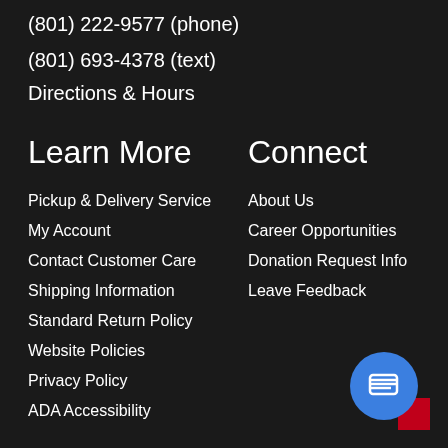(801) 222-9577 (phone)
(801) 693-4378 (text)
Directions & Hours
Learn More
Pickup & Delivery Service
My Account
Contact Customer Care
Shipping Information
Standard Return Policy
Website Policies
Privacy Policy
ADA Accessibility
Connect
About Us
Career Opportunities
Donation Request Info
Leave Feedback
[Figure (illustration): Blue circular chat button with message icon, with red corner accent behind it]